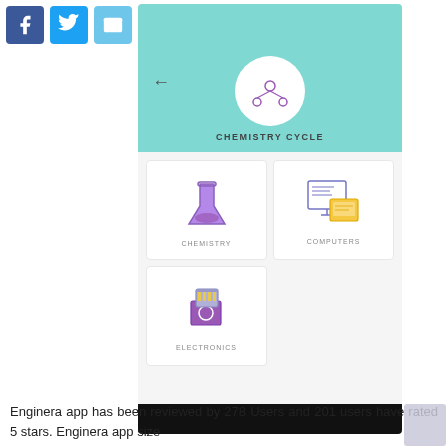[Figure (screenshot): Social sharing bar with Facebook, Twitter, Email, and WhatsApp icons]
[Figure (screenshot): Mobile app screenshot showing Chemistry Cycle app with teal header, molecule icon, and category cards: Chemistry, Computers, Electronics]
Enginera app has been reviewed by 278 Users and 201 users have rated 5 stars. Enginera app size